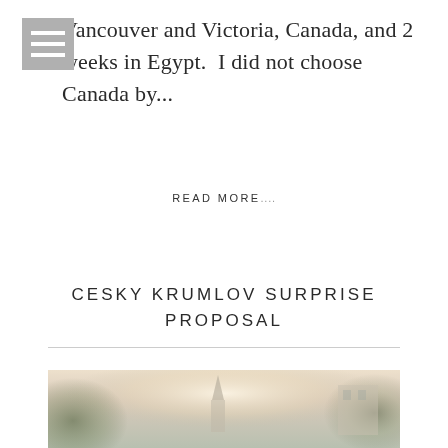Vancouver and Victoria, Canada, and 2 weeks in Egypt.  I did not choose Canada by...
READ MORE....
CESKY KRUMLOV SURPRISE PROPOSAL
[Figure (photo): A landscape photo showing a church spire or tower in the background, framed by trees, with a bright sky and warm light.]